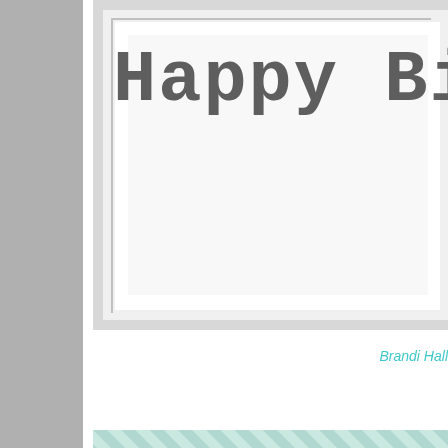[Figure (photo): Close-up photo of a white greeting card with 'Happy Birth...' text stamped in dark grey distressed font, partially cropped, with a white frame border on a light grey/white background.]
Brandi Hall
[Figure (photo): Photo of a handmade greeting card with a light blue diagonal stripe patterned background, layered with a white border and a light blue small stars/dots patterned panel. A black silhouette of a child running and flying a paper airplane kite is stamped on the card.]